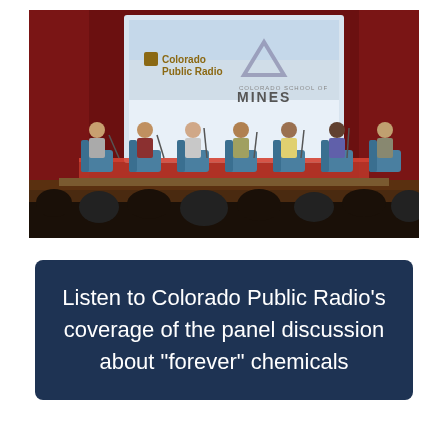[Figure (photo): Panel discussion on stage at an auditorium. A projection screen behind the panelists shows the logos of Colorado Public Radio and Colorado School of Mines. Seven people sit in blue chairs on the stage with microphones. The audience is visible as silhouettes in the foreground.]
Listen to Colorado Public Radio's coverage of the panel discussion about "forever" chemicals